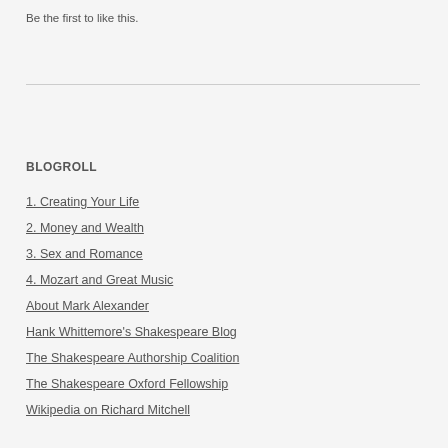Be the first to like this.
BLOGROLL
1. Creating Your Life
2. Money and Wealth
3. Sex and Romance
4. Mozart and Great Music
About Mark Alexander
Hank Whittemore's Shakespeare Blog
The Shakespeare Authorship Coalition
The Shakespeare Oxford Fellowship
Wikipedia on Richard Mitchell